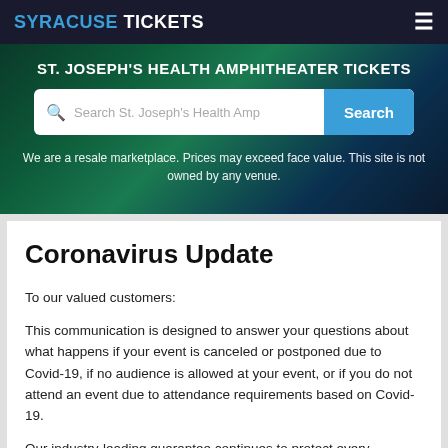SYRACUSE TICKETS
ST. JOSEPH'S HEALTH AMPHITHEATER TICKETS
Search St. Joseph's Health Amp  Search
We are a resale marketplace. Prices may exceed face value. This site is not owned by any venue.
Coronavirus Update
To our valued customers:
This communication is designed to answer your questions about what happens if your event is canceled or postponed due to Covid-19, if no audience is allowed at your event, or if you do not attend an event due to attendance requirements based on Covid-19.
Our industry-leading guarantee continues to protect every